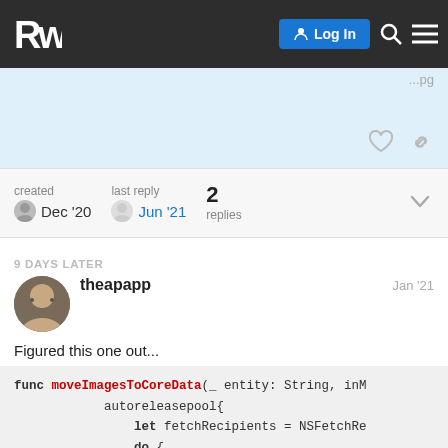RW Logo | Log In | Search | Menu
[Figure (screenshot): Forum post footer area with heart and link icons, created Dec '20, last reply Jun '21, 2 replies]
9 DAYS LATER
theapapp   Jan '21
Figured this one out...
func moveImagesToCoreData(_ entity: String, inM
            autoreleasepool{
                let fetchRecipients = NSFetchRe
                do {
                    let recipients = try manage